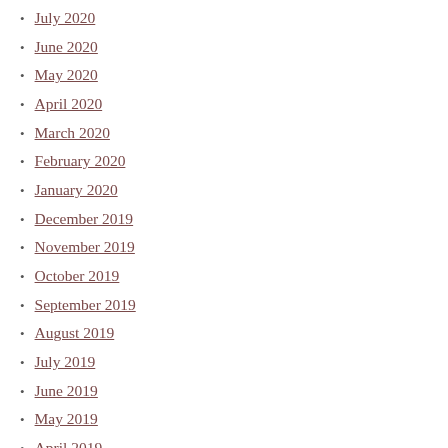July 2020
June 2020
May 2020
April 2020
March 2020
February 2020
January 2020
December 2019
November 2019
October 2019
September 2019
August 2019
July 2019
June 2019
May 2019
April 2019
March 2019
February 2019
January 2019
December 2018